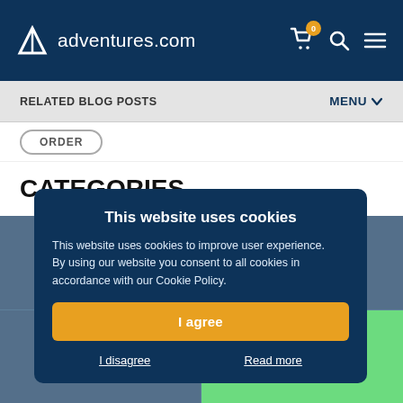adventures.com
RELATED BLOG POSTS
MENU
CATEGORIES
This website uses cookies
This website uses cookies to improve user experience. By using our website you consent to all cookies in accordance with our Cookie Policy.
I agree
I disagree
Read more